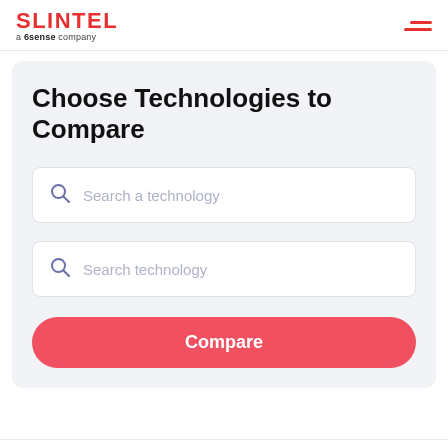SLINTEL a 6sense company
Choose Technologies to Compare
Search a technology
Search technology
Compare